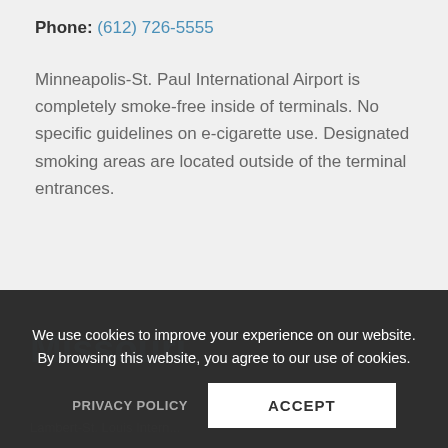Phone: (612) 726-5555
Minneapolis-St. Paul International Airport is completely smoke-free inside of terminals. No specific guidelines on e-cigarette use. Designated smoking areas are located outside of the terminal entrances.
Missouri
Lambert-St. Louis Intern...
We use cookies to improve your experience on our website. By browsing this website, you agree to our use of cookies.
PRIVACY POLICY
ACCEPT